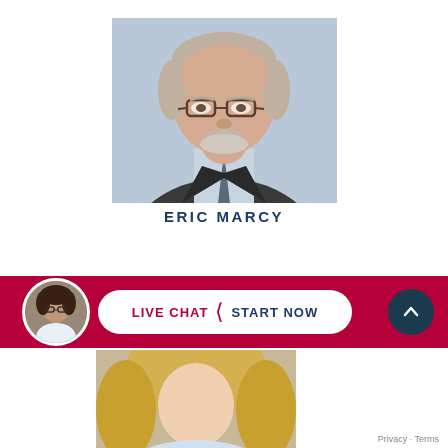[Figure (photo): Professional headshot of Eric Marcy, an older man with gray hair, glasses, and a dark suit with tie, against a blurred blue background.]
ERIC MARCY
[Figure (photo): Live chat widget banner with a circular avatar photo of a woman with dark curly hair and glasses, a white rounded button reading LIVE CHAT > START NOW, and a dark teal up-arrow circle button, all on a crimson/dark red background.]
[Figure (photo): Partial headshot of a blonde woman at bottom of page.]
Privacy · Terms